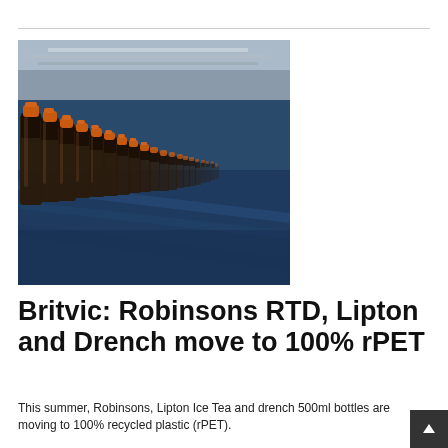[Figure (photo): Rows of brown glass or PET bottles with orange caps on a production line conveyor, close-up shot on a blue surface background.]
Britvic: Robinsons RTD, Lipton and Drench move to 100% rPET
This summer, Robinsons, Lipton Ice Tea and drench 500ml bottles are moving to 100% recycled plastic (rPET).